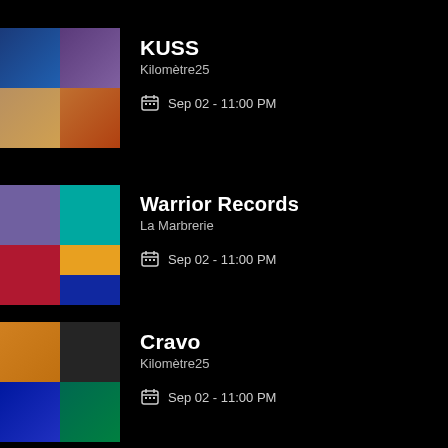[Figure (photo): Collage of 4 concert/band photos for KUSS event]
KUSS
Kilomètre25
Sep 02 - 11:00 PM
[Figure (photo): Collage of 4 concert/band photos for Warrior Records event]
Warrior Records
La Marbrerie
Sep 02 - 11:00 PM
[Figure (photo): Collage of 4 concert/band photos for Cravo event]
Cravo
Kilomètre25
Sep 02 - 11:00 PM